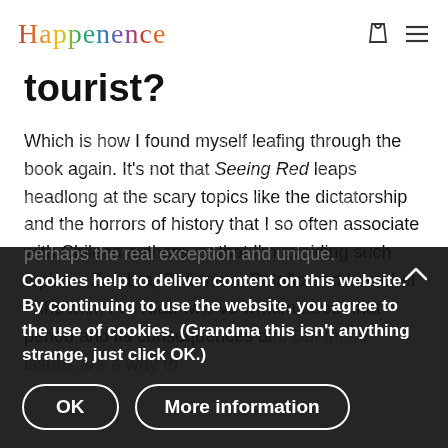Happenence
tourist?
Which is how I found myself leafing through the book again. It's not that Seeing Red leaps headlong at the scary topics like the dictatorship and the horrors of history that I so often associate with Chilean authors, or that I'm avoiding such topics – Zambra, Skármeta, Bolaño and Lemebel – the men I've read who've written about that period and its consequences did. But those issues are a way to question here to ponder in its own right. Then again, the women in their stories were often being observed rather than lived through. Lemebel's beautifully written My Tender Matador was perhaps the real exception and unique.
Cookies help to deliver content on this website. By continuing to use the website, you agree to the use of cookies. (Grandma this isn't anything strange, just click OK.)